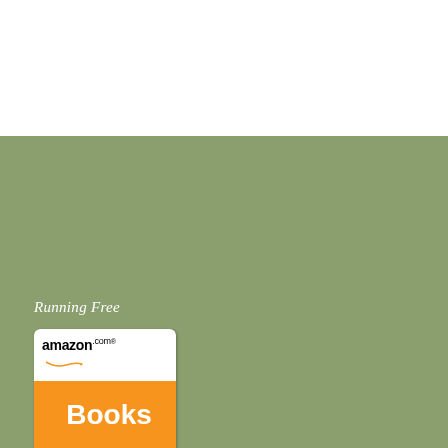Running Free
[Figure (illustration): Amazon.com Books advertisement banner with orange background, amazon.com logo at top in white area, 'Books' text in white, 'Click here' button, and 'Privacy Information' text at bottom]